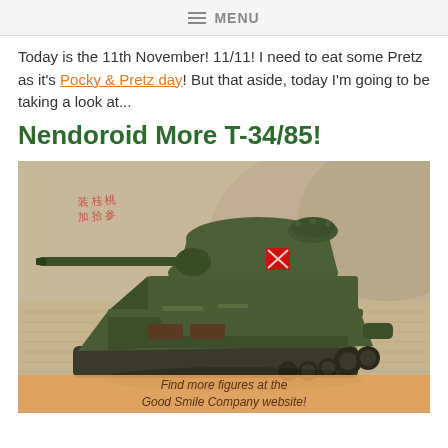MENU
Today is the 11th November! 11/11! I need to eat some Pretz as it's Pocky & Pretz day! But that aside, today I'm going to be taking a look at...
Nendoroid More T-34/85!
[Figure (photo): A Nendoroid More T-34/85 model tank in olive green with a red Soviet star emblem on the turret, photographed on a beige carpet surface with a cushion in the background. The tank's long gun barrel extends to the left. Red Chinese/Japanese text graffiti is visible in the upper left background.]
Find more figures at the Good Smile Company website!